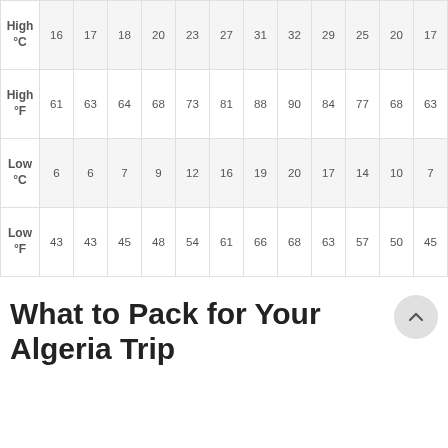|  | J | F | M | A | M | J | J | A | S | O | N | D |
| --- | --- | --- | --- | --- | --- | --- | --- | --- | --- | --- | --- | --- |
| High °C | 16 | 17 | 18 | 20 | 23 | 27 | 31 | 32 | 29 | 25 | 20 | 17 |
| High °F | 61 | 63 | 64 | 68 | 73 | 81 | 88 | 90 | 84 | 77 | 68 | 63 |
| Low °C | 6 | 6 | 7 | 9 | 12 | 16 | 19 | 20 | 17 | 14 | 10 | 7 |
| Low °F | 43 | 43 | 45 | 48 | 54 | 61 | 66 | 68 | 63 | 57 | 50 | 45 |
What to Pack for Your Algeria Trip